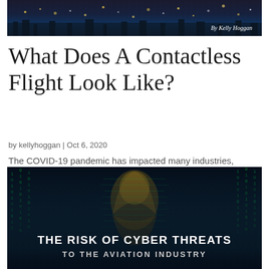[Figure (photo): Dark city night skyline with lights, header image. Text overlay reads 'By Kelly Hoggan' in italic white font on the right side.]
What Does A Contactless Flight Look Like?
by kellyhoggan | Oct 6, 2020
The COVID-19 pandemic has impacted many industries, with one of the most-impacted being the airline industry.
[Figure (photo): Dark digital matrix background with a hooded figure made of code/data streams. Text overlay reads 'THE RISK OF CYBER THREATS TO THE AVIATION INDUSTRY' in bold white text.]